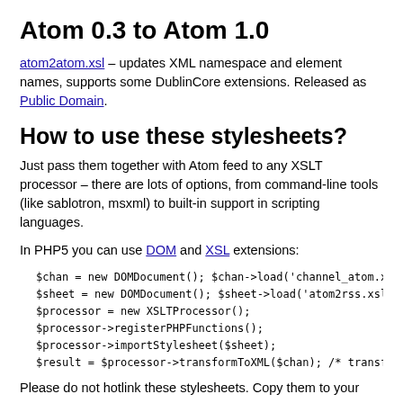Atom 0.3 to Atom 1.0
atom2atom.xsl – updates XML namespace and element names, supports some DublinCore extensions. Released as Public Domain.
How to use these stylesheets?
Just pass them together with Atom feed to any XSLT processor – there are lots of options, from command-line tools (like sablotron, msxml) to built-in support in scripting languages.
In PHP5 you can use DOM and XSL extensions:
$chan = new DOMDocument(); $chan->load('channel_atom.xml')
$sheet = new DOMDocument(); $sheet->load('atom2rss.xsl');
$processor = new XSLTProcessor();
$processor->registerPHPFunctions();
$processor->importStylesheet($sheet);
$result = $processor->transformToXML($chan); /* transform
Please do not hotlink these stylesheets. Copy them to your own server.